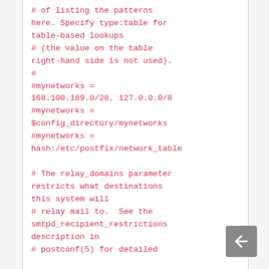# of listing the patterns here. Specify type:table for table-based lookups
# (the value on the table right-hand side is not used).
#
#mynetworks = 168.100.189.0/28, 127.0.0.0/8
#mynetworks = $config_directory/mynetworks
#mynetworks = hash:/etc/postfix/network_table

# The relay_domains parameter restricts what destinations this system will
# relay mail to.  See the smtpd_recipient_restrictions description in
# postconf(5) for detailed